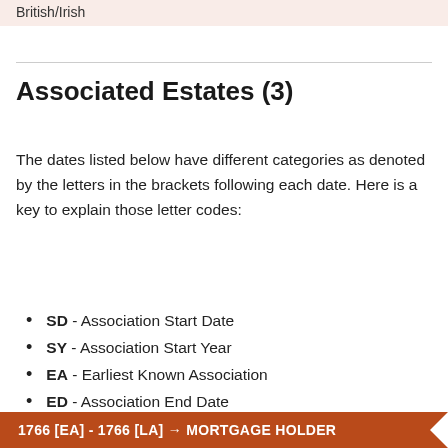British/Irish
Associated Estates (3)
The dates listed below have different categories as denoted by the letters in the brackets following each date. Here is a key to explain those letter codes:
SD - Association Start Date
SY - Association Start Year
EA - Earliest Known Association
ED - Association End Date
EY - Association End Year
LA - Latest Known Association
1766 [EA] - 1766 [LA] → MORTGAGE HOLDER